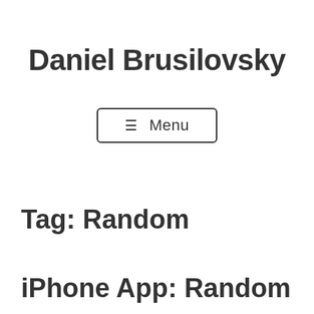Daniel Brusilovsky
☰ Menu
Tag: Random
iPhone App: Random